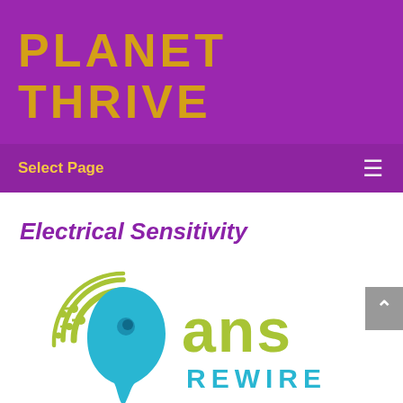PLANET THRIVE
Select Page
Electrical Sensitivity
[Figure (logo): ANS Rewire logo with a stylized head silhouette in cyan/blue and circuit/neural graphic elements in yellow-green, with 'ANS REWIRE' text in yellow-green to the right of the head icon]
ANS REWIRE